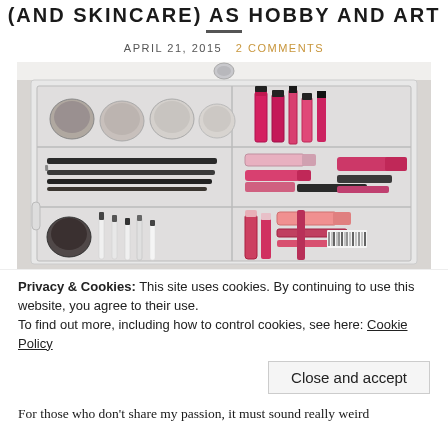(AND SKINCARE) AS HOBBY AND ART
APRIL 21, 2015   2 COMMENTS
[Figure (photo): A clear plastic makeup organizer with multiple compartments containing gel eyeliners, eye pencils, lip glosses, lipsticks, lip liners, and makeup brushes arranged neatly.]
Privacy & Cookies: This site uses cookies. By continuing to use this website, you agree to their use.
To find out more, including how to control cookies, see here: Cookie Policy
Close and accept
For those who don't share my passion, it must sound really weird